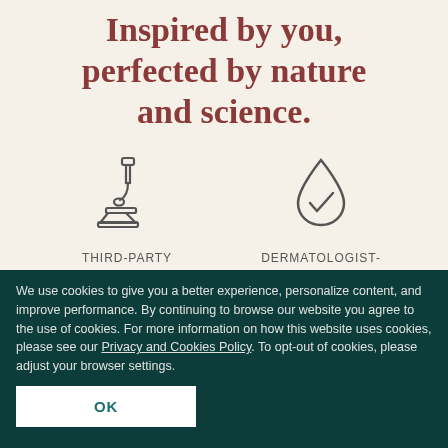Inspired by you, perfected by nature and science.
[Figure (illustration): Microscope icon representing third-party clinical testing]
THIRD-PARTY CLINICALLY
[Figure (illustration): Water drop with checkmark icon representing dermatologist-tested]
DERMATOLOGIST-TESTED
We use cookies to give you a better experience, personalize content, and improve performance. By continuing to browse our website you agree to the use of cookies. For more information on how this website uses cookies, please see our Privacy and Cookies Policy. To opt-out of cookies, please adjust your browser settings.
OK